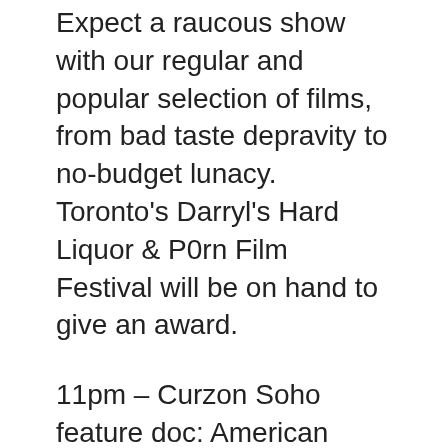Expect a raucous show with our regular and popular selection of films, from bad taste depravity to no-budget lunacy. Toronto's Darryl's Hard Liquor & P0rn Film Festival will be on hand to give an award.
11pm – Curzon Soho feature doc: American Hardcore (Paul Rachman, US 2006) AMERICAN HARDCORE is a new documentary film about the history and origins of American punk rock music from 1980 to 1986. Generally unheralded at the time, the early 1980s hardcore punk rock scene gave birth to much of the rock music and culture that followed. There would be no Nirvana, Beastie Boys or Red Hot Chili Peppers were it not for hardcore pioneers such as Black Flag, Bad Brains and Minor Threat. Hardcore was more than music - it was a social